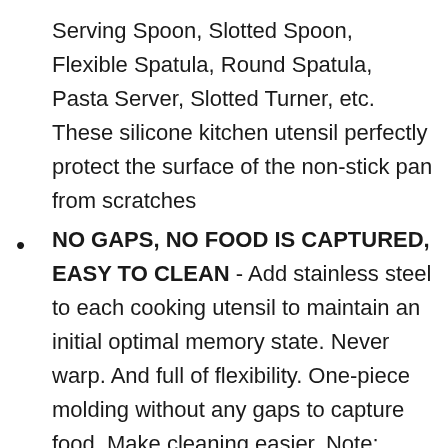Serving Spoon, Slotted Spoon, Flexible Spatula, Round Spatula, Pasta Server, Slotted Turner, etc. These silicone kitchen utensil perfectly protect the surface of the non-stick pan from scratches
NO GAPS, NO FOOD IS CAPTURED, EASY TO CLEAN - Add stainless steel to each cooking utensil to maintain an initial optimal memory state. Never warp. And full of flexibility. One-piece molding without any gaps to capture food. Make cleaning easier. Note: